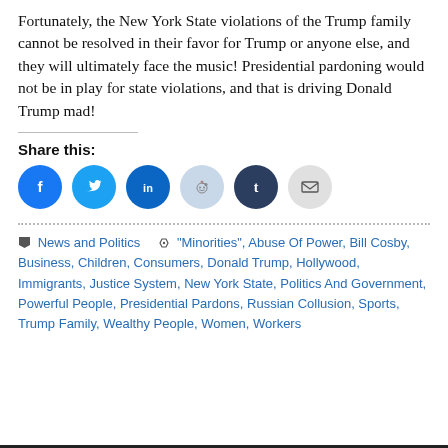Fortunately, the New York State violations of the Trump family cannot be resolved in their favor for Trump or anyone else, and they will ultimately face the music! Presidential pardoning would not be in play for state violations, and that is driving Donald Trump mad!
Share this:
[Figure (infographic): Social share icons: Facebook (blue circle with f), Twitter (blue circle with bird), LinkedIn (blue circle with in), Reddit (light blue circle with alien), Tumblr (dark navy circle with t), Email (gray circle with envelope)]
News and Politics   "Minorities", Abuse Of Power, Bill Cosby, Business, Children, Consumers, Donald Trump, Hollywood, Immigrants, Justice System, New York State, Politics And Government, Powerful People, Presidential Pardons, Russian Collusion, Sports, Trump Family, Wealthy People, Women, Workers